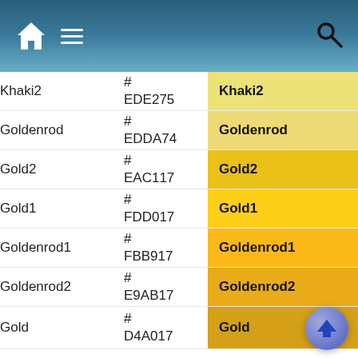[Figure (screenshot): Mobile app navigation bar with home icon, hamburger menu, and search icon on a blue gradient background]
| Name | Hex Code | Color Swatch |
| --- | --- | --- |
| Khaki2 | #EDE275 | Khaki2 |
| Goldenrod | #EDDA74 | Goldenrod |
| Gold2 | #EAC117 | Gold2 |
| Gold1 | #FDD017 | Gold1 |
| Goldenrod1 | #FBB917 | Goldenrod1 |
| Goldenrod2 | #E9AB17 | Goldenrod2 |
| Gold | #D4A017 | Gold |